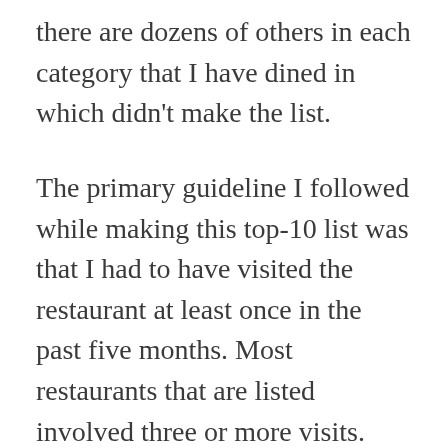there are dozens of others in each category that I have dined in which didn't make the list.
The primary guideline I followed while making this top-10 list was that I had to have visited the restaurant at least once in the past five months. Most restaurants that are listed involved three or more visits. There a few “musts” that are required for a perfect RSJ breakfast joint. The place should know how to properly cook eggs (you’d be amazed at the number of places that overcook eggs), the bacon needs to be high quality, the orange